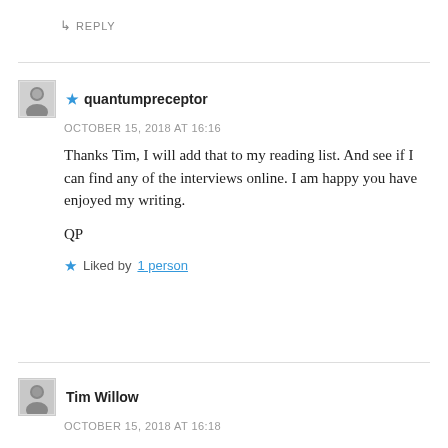↳ REPLY
★ quantumpreceptor
OCTOBER 15, 2018 AT 16:16
Thanks Tim, I will add that to my reading list. And see if I can find any of the interviews online. I am happy you have enjoyed my writing.

QP

★ Liked by 1 person
Tim Willow
OCTOBER 15, 2018 AT 16:18
Also Dalai Lama had interviews with some physics guys – merging the two areas as your post did